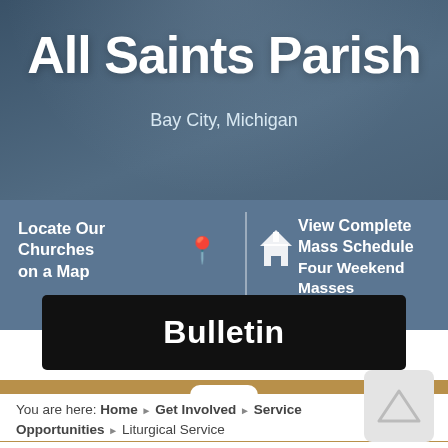All Saints Parish
Bay City, Michigan
Locate Our Churches on a Map
View Complete Mass Schedule Four Weekend Masses
Bulletin
You are here: Home ▶ Get Involved ▶ Service Opportunities ▶ Liturgical Service